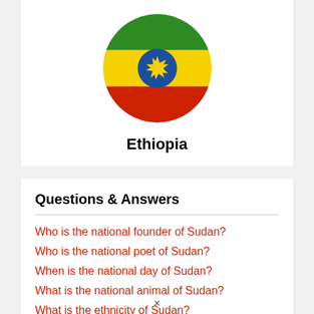[Figure (illustration): Circular Ethiopian flag showing three horizontal stripes (green, yellow, red) with a blue circle and yellow star emblem in the center]
Ethiopia
Questions & Answers
Who is the national founder of Sudan?
Who is the national poet of Sudan?
When is the national day of Sudan?
What is the national animal of Sudan?
What is the ethnicity of Sudan?
What is the religion of Sudan?